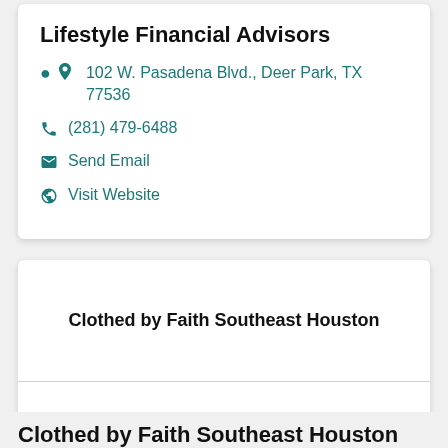Lifestyle Financial Advisors
102 W. Pasadena Blvd., Deer Park, TX 77536
(281) 479-6488
Send Email
Visit Website
Clothed by Faith Southeast Houston
Clothed by Faith Southeast Houston